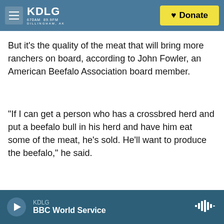KDLG 670AM 89.9FM DILLINGHAM, AK — Donate
But it's the quality of the meat that will bring more ranchers on board, according to John Fowler, an American Beefalo Association board member.
"If I can get a person who has a crossbred herd and put a beefalo bull in his herd and have him eat some of the meat, he's sold. He'll want to produce the beefalo," he said.
[Figure (photo): A person wearing a tan baseball cap viewed from behind, looking out over a field with cattle and green trees in the background.]
KDLG BBC World Service